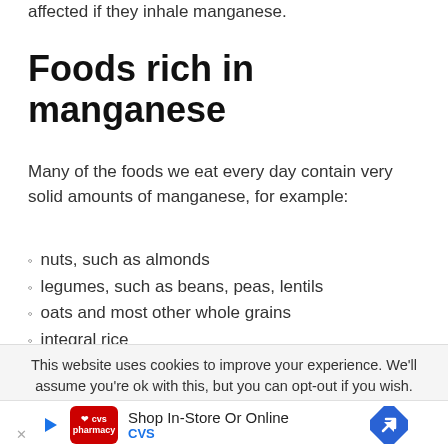affected if they inhale manganese.
Foods rich in manganese
Many of the foods we eat every day contain very solid amounts of manganese, for example:
nuts, such as almonds
legumes, such as beans, peas, lentils
oats and most other whole grains
integral rice
green leafy vegetables, such as spinach
pineapple
This website uses cookies to improve your experience. We'll assume you're ok with this, but you can opt-out if you wish.
[Figure (other): CVS pharmacy advertisement banner: Shop In-Store Or Online, CVS]